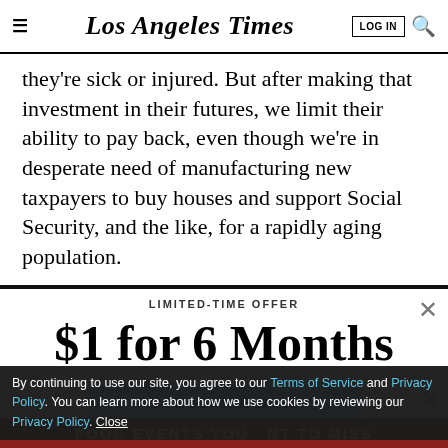Los Angeles Times
they're sick or injured. But after making that investment in their futures, we limit their ability to pay back, even though we're in desperate need of manufacturing new taxpayers to buy houses and support Social Security, and the like, for a rapidly aging population.
LIMITED-TIME OFFER
$1 for 6 Months
SUBSCRIBE NOW
By continuing to use our site, you agree to our Terms of Service and Privacy Policy. You can learn more about how we use cookies by reviewing our Privacy Policy. Close
[Figure (other): Partially visible advertisement banner for food events]